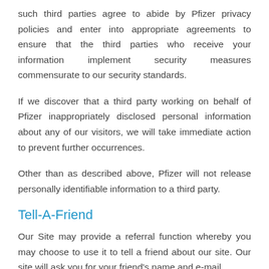such third parties agree to abide by Pfizer privacy policies and enter into appropriate agreements to ensure that the third parties who receive your information implement security measures commensurate to our security standards.
If we discover that a third party working on behalf of Pfizer inappropriately disclosed personal information about any of our visitors, we will take immediate action to prevent further occurrences.
Other than as described above, Pfizer will not release personally identifiable information to a third party.
Tell-A-Friend
Our Site may provide a referral function whereby you may choose to use it to tell a friend about our site. Our site will ask you for your friend's name and e-mail